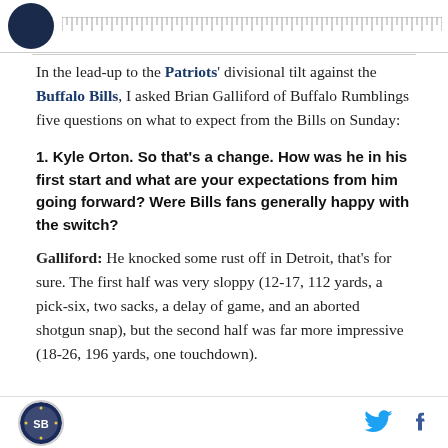[Figure (logo): Circular dark navy team/site logo in top bar area with ruler tick marks]
In the lead-up to the Patriots' divisional tilt against the Buffalo Bills, I asked Brian Galliford of Buffalo Rumblings five questions on what to expect from the Bills on Sunday:
1. Kyle Orton. So that's a change. How was he in his first start and what are your expectations from him going forward? Were Bills fans generally happy with the switch?
Galliford: He knocked some rust off in Detroit, that's for sure. The first half was very sloppy (12-17, 112 yards, a pick-six, two sacks, a delay of game, and an aborted shotgun snap), but the second half was far more impressive (18-26, 196 yards, one touchdown).
Site logo and social icons (Twitter, Facebook)